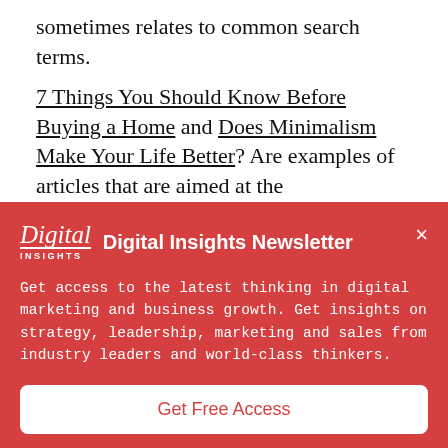sometimes relates to common search terms.
7 Things You Should Know Before Buying a Home and Does Minimalism Make Your Life Better? Are examples of articles that are aimed at the
[Figure (other): Digital Insights Newsletter modal popup overlay with red background, logo, description text, and Get Free Access button]
Digital Insights Newsletter
Get access to the latest thinking in digital marketing and business growth. Get insights on strategy, leadership, marketing and sales from industry leaders and world-class thinkers.
Get Free Access